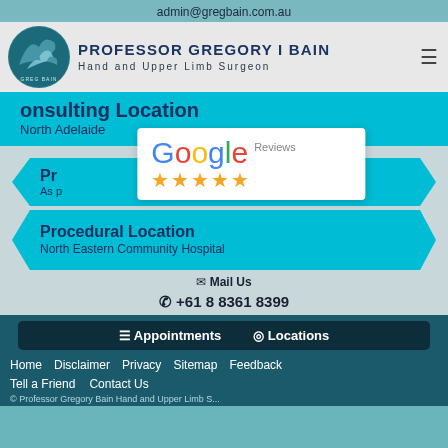admin@gregbain.com.au
PROFESSOR GREGORY I BAIN
Hand and Upper Limb Surgeon
onsulting Location
North Adelaide
[Figure (other): Google Reviews badge with 5 stars]
196 Melbourne Street North
Adelaide, Australia 5006
Procedural Location
North Eastern Community Hospital
Mail Us
+61 8 8361 8399
Appointments   Locations
Home   Disclaimer   Privacy   Sitemap   Feedback
Tell a Friend   Contact Us
© Professor Gregory Bain Hand and Upper Limb Surgeon